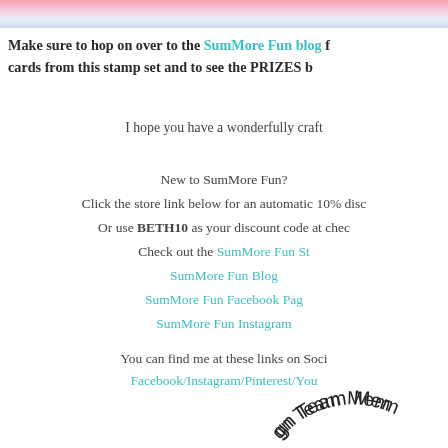[Figure (photo): Partial top image showing pink and light blue colors, cropped at top of page]
Make sure to hop on over to the SumMore Fun blog f... cards from this stamp set and to see the PRIZES b...
I hope you have a wonderfully craft...
New to SumMore Fun?
Click the store link below for an automatic 10% disc...
Or use BETH10 as your discount code at chec...
Check out the SumMore Fun St...
SumMore Fun Blog
SumMore Fun Facebook Pag...
SumMore Fun Instagram
You can find me at these links on Soci...
Facebook/Instagram/Pinterest/You...
[Figure (illustration): Partial circular stamp arc reading 'gn Team Mem...' in black text on white background at bottom right]